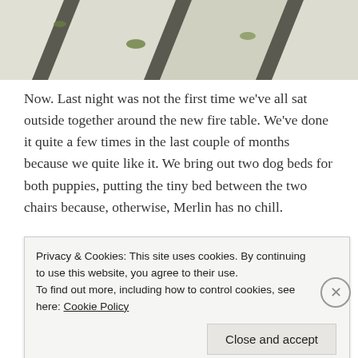[Figure (photo): Top portion of an outdoor patio with stone pavers and gravel, black and white pattern, partial view cropped at top]
Now. Last night was not the first time we've all sat outside together around the new fire table. We've done it quite a few times in the last couple of months because we quite like it. We bring out two dog beds for both puppies, putting the tiny bed between the two chairs because, otherwise, Merlin has no chill.
[Figure (photo): Bottom portion showing outdoor scene with blue striped fabric/cushion and plant]
Privacy & Cookies: This site uses cookies. By continuing to use this website, you agree to their use.
To find out more, including how to control cookies, see here: Cookie Policy
Close and accept